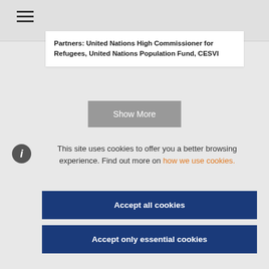≡
Partners: United Nations High Commissioner for Refugees, United Nations Population Fund, CESVI
Show More
This site uses cookies to offer you a better browsing experience. Find out more on how we use cookies.
Accept all cookies
Accept only essential cookies